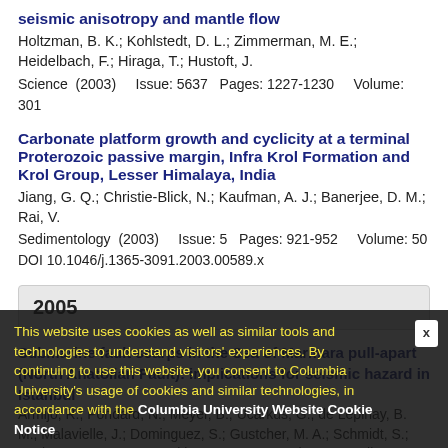seismic anisotropy and mantle flow
Holtzman, B. K.; Kohlstedt, D. L.; Zimmerman, M. E.; Heidelbach, F.; Hiraga, T.; Hustoft, J.
Science  (2003)    Issue: 5637  Pages: 1227-1230    Volume: 301
Carbonate platform growth and cyclicity at a terminal Proterozoic passive margin, Infra Krol Formation and Krol Group, Lesser Himalaya, India
Jiang, G. Q.; Christie-Blick, N.; Kaufman, A. J.; Banerjee, D. M.; Rai, V.
Sedimentology  (2003)    Issue: 5  Pages: 921-952    Volume: 50
DOI 10.1046/j.1365-3091.2003.00589.x
2005
Submarine fault scarps in the Sea of Marmara pull-apart (North Anatolian Fault): implications for seismic hazard in Istanbul
Armijo, R.; Pondard, N.; Meyer, B.; Ucarkus, G.; de Lepinay, B. M.; Malavielle, J.; Dominguez, S.; Gustcher, M. A.; Schmidt, S.; Beck, C.; Cagatay, N.; Cakir, Z.; Imren, C.; Eris, K.; Natalin, B.; Ozalaybey, S.; Tolun, L.; Lefevre, I.; Seeber, L.; Gasper
Geochemistry Geophysics Geosystems  (2005)    Pages:
This website uses cookies as well as similar tools and technologies to understand visitors' experiences. By continuing to use this website, you consent to Columbia University's usage of cookies and similar technologies, in accordance with the Columbia University Website Cookie Notice